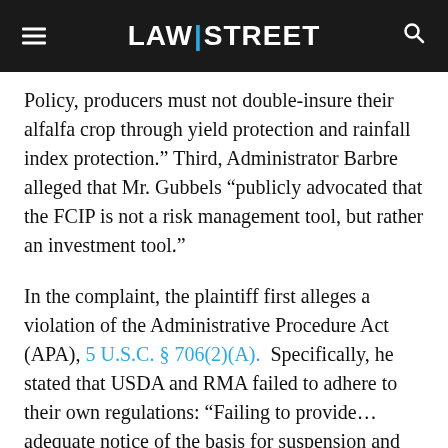LAW|STREET
Policy, producers must not double-insure their alfalfa crop through yield protection and rainfall index protection.” Third, Administrator Barbre alleged that Mr. Gubbels “publicly advocated that the FCIP is not a risk management tool, but rather an investment tool.”
In the complaint, the plaintiff first alleges a violation of the Administrative Procedure Act (APA), 5 U.S.C. § 706(2)(A).  Specifically, he stated that USDA and RMA failed to adhere to their own regulations: “Failing to provide…adequate notice of the basis for suspension and proposed debarment as required by 2 C.F.R. §§ 180.700, 180.715, 180.800, 180.805, 417.800…an evidentiary hearing as required by 2 C.F.R. §§